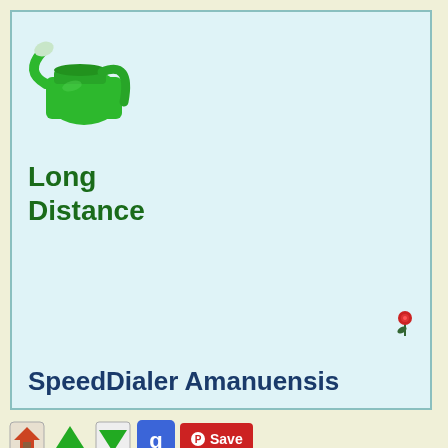[Figure (illustration): Green watering can icon in top-left of the light blue main content box]
Long Distance
[Figure (illustration): Small red rose/flower icon near right side of main content box]
SpeedDialer Amanuensis
[Figure (infographic): Navigation icon bar with home icon, up arrow, down arrow, Google+ icon, and Pinterest Save button]
You are here : home > Java Glossary > Student
©1996-2017 Roedy Green of Canadian Mind Products